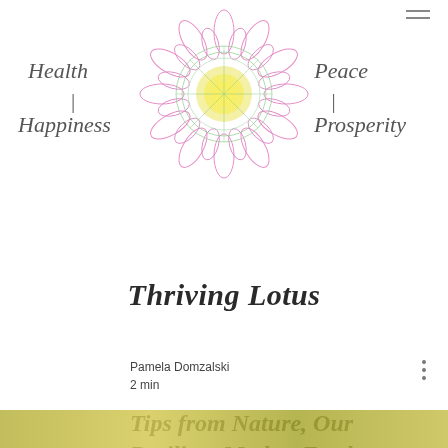[Figure (illustration): Colorful mandala lotus flower illustration with pink petals, green and yellow center, used as logo for Thriving Lotus]
Health
|
Happiness
Peace
|
Prosperity
Thriving Lotus
Pamela Domzalski
2 min
Tips from Nature, Our Resilient Mother Earth
[Figure (photo): Blurred olive/yellow-green horizontal photo strip at bottom of page]